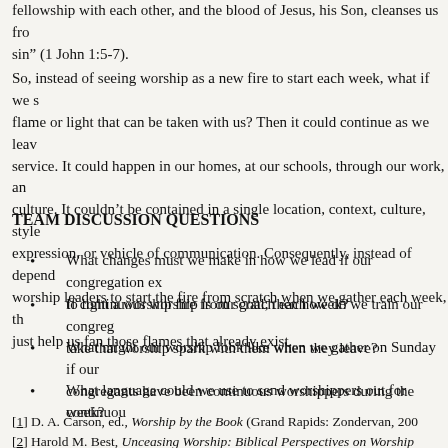fellowship with each other, and the blood of Jesus, his Son, cleanses us from sin” (1 John 1:5-7).
So, instead of seeing worship as a new fire to start each week, what if we saw it as a flame or light that can be taken with us? Then it could continue as we leave the service. It could happen in our homes, at our schools, through our work, and in our culture. It couldn’t be contained in a single location, context, culture, style of expression, or vehicle of communication. Consequently, instead of depending on worship leaders to start the fire from scratch when we gather each week, they could just help us fan those flames that already exist.
TEAM DISCUSSION QUESTIONS
What changes must we make in how we lead if our congregation expects us to light a worship fire from scratch each week?
If continuous worship is our goal, then how do we train our congregation to take that worship spark with them when they leave?
What might our worship look like when we gather on Sunday if our congregants have been continuous worshippers during the week?
What language could we use to send worshippers out for continuous
[1] D. A. Carson, ed., Worship by the Book (Grand Rapids: Zondervan, 200[...]
[2] Harold M. Best, Unceasing Worship: Biblical Perspectives on Worship and the Arts (Downers Grove: InterVarsity, 2003), 9.